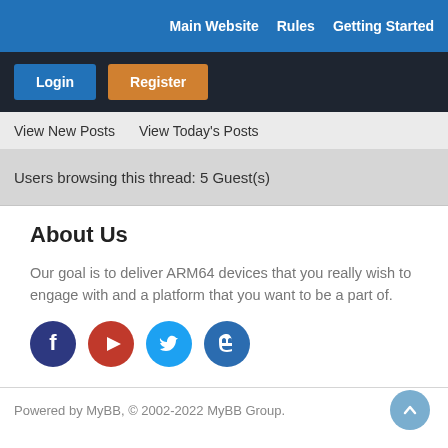Main Website   Rules   Getting Started
Login   Register
View New Posts   View Today's Posts
Users browsing this thread: 5 Guest(s)
About Us
Our goal is to deliver ARM64 devices that you really wish to engage with and a platform that you want to be a part of.
[Figure (illustration): Four circular social media icons: Facebook (dark blue), YouTube (red), Twitter (light blue), Mastodon (blue)]
Powered by MyBB, © 2002-2022 MyBB Group.